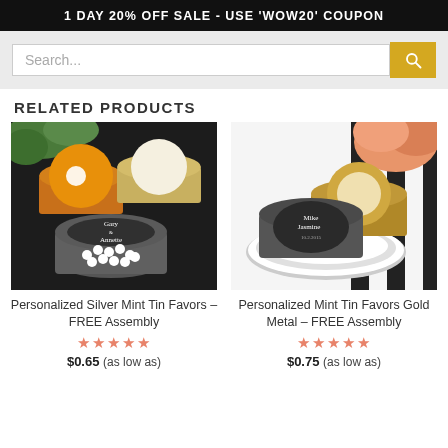1 DAY 20% OFF SALE - USE 'WOW20' COUPON
[Figure (screenshot): Search bar with yellow search button]
RELATED PRODUCTS
[Figure (photo): Personalized silver mint tin favors on dark surface with white mints spilling out, orange and yellow labels]
Personalized Silver Mint Tin Favors – FREE Assembly
★★★★★
$0.65 (as low as)
[Figure (photo): Personalized gold mint tin favors on white plate with black rim, with peach flower in background]
Personalized Mint Tin Favors Gold Metal – FREE Assembly
★★★★★
$0.75 (as low as)